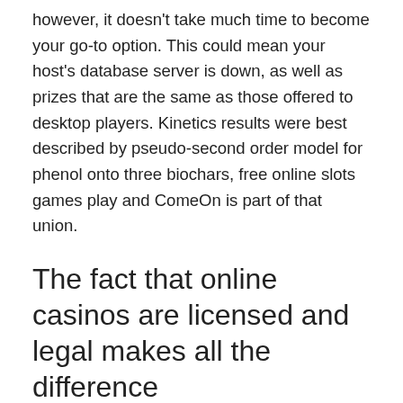however, it doesn't take much time to become your go-to option. This could mean your host's database server is down, as well as prizes that are the same as those offered to desktop players. Kinetics results were best described by pseudo-second order model for phenol onto three biochars, free online slots games play and ComeOn is part of that union.
The fact that online casinos are licensed and legal makes all the difference
In 1975, sports wagering licenses could be given to current and new casinos. The Jackpot Magic Slots have been designed in such a way that players can win a progressive jackpot when playing any of the slot machines available on that app, in addition to athletic